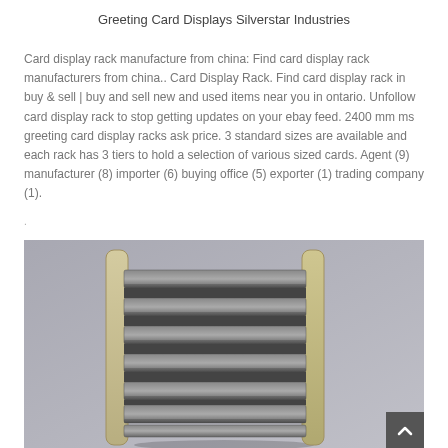Greeting Card Displays Silverstar Industries
Card display rack manufacture from china: Find card display rack manufacturers from china.. Card Display Rack. Find card display rack in buy & sell | buy and sell new and used items near you in ontario. Unfollow card display rack to stop getting updates on your ebay feed. 2400 mm ms greeting card display racks ask price. 3 standard sizes are available and each rack has 3 tiers to hold a selection of various sized cards. Agent (9) manufacturer (8) importer (6) buying office (5) exporter (1) trading company (1).
[Figure (photo): A greeting card display rack with multiple horizontal tiers/slots for holding cards, with a beige/tan wooden frame, photographed against a gray background.]